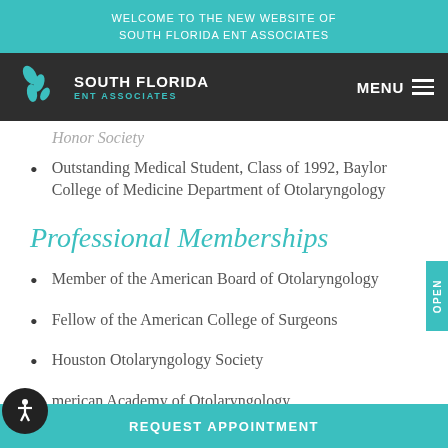WELCOME TO THE NEW WEBSITE OF SOUTH FLORIDA ENT ASSOCIATES
[Figure (logo): South Florida ENT Associates logo with teal icon and white text on dark background, plus MENU hamburger icon]
Honor Society
Outstanding Medical Student, Class of 1992, Baylor College of Medicine Department of Otolaryngology
Professional Memberships
Member of the American Board of Otolaryngology
Fellow of the American College of Surgeons
Houston Otolaryngology Society
American Academy of Otolaryngology
REQUEST APPOINTMENT